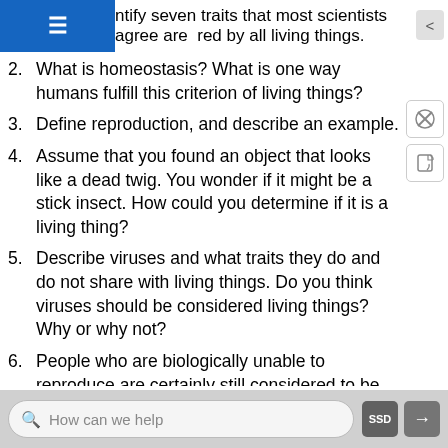ntify seven traits that most scientists agree are shared by all living things.
2. What is homeostasis? What is one way humans fulfill this criterion of living things?
3. Define reproduction, and describe an example.
4. Assume that you found an object that looks like a dead twig. You wonder if it might be a stick insect. How could you determine if it is a living thing?
5. Describe viruses and what traits they do and do not share with living things. Do you think viruses should be considered living things? Why or why not?
6. People who are biologically unable to reproduce are certainly still considered to be alive! Discuss why this situation does not invalidate the criteria that living things must be capable of reproduction.
7. What are the two types of metabolism described
How can we help